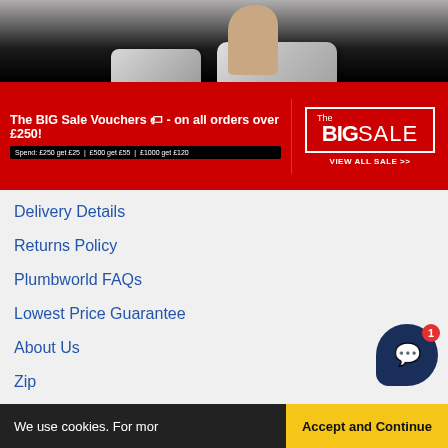[Figure (photo): Product photo showing chrome kitchen sinks on a dark countertop with a hand visible in the upper right area]
[Figure (infographic): Red promotional banner: The BIG Sale Vouchers - on all orders over £250! Spend: £250 get £25 | £500 get £55 | £1000 get £120. Right side shows 'The BIG SALE VIEW ALL SALE >>' in a white-bordered box.]
Delivery Details
Returns Policy
Plumbworld FAQs
Lowest Price Guarantee
About Us
Zip
Manage My Order
We use cookies. For mor
Accept and Continue